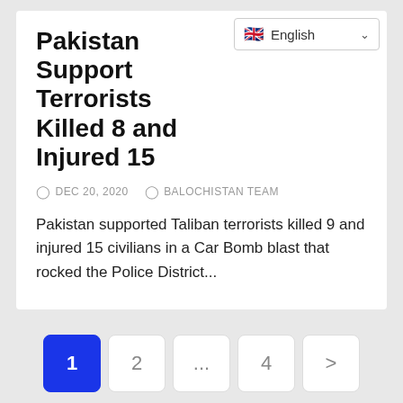Pakistan Support Terrorists Killed 8 and Injured 15
DEC 20, 2020  BALOCHISTAN TEAM
Pakistan supported Taliban terrorists killed 9 and injured 15 civilians in a Car Bomb blast that rocked the Police District...
[Figure (other): Pagination bar with page buttons: 1 (active, blue), 2, ..., 4, > (next)]
[Figure (other): Search bar with text input placeholder 'Search' and blue search button with magnifying glass icon, plus scroll-to-top button]